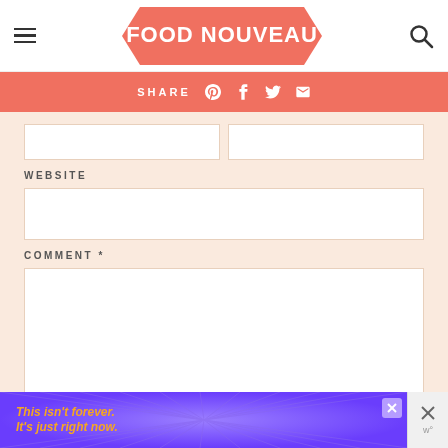FOOD NOUVEAU
SHARE
WEBSITE
COMMENT *
[Figure (screenshot): Ad banner: purple background with radiating lines, orange italic text 'This isn't forever. It's just right now.']